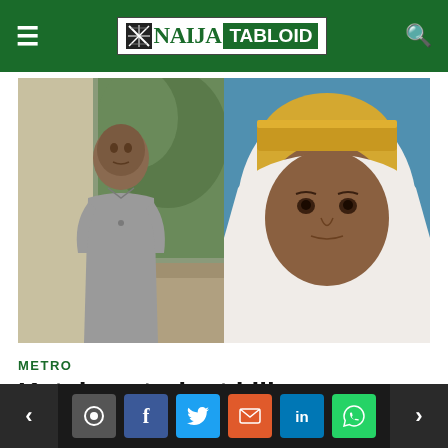NAIJA TABLOID
[Figure (photo): Two-panel photo: left side shows a young man in a grey shirt standing outdoors near a tree; right side shows a woman wearing a white hijab and yellow head covering.]
METRO
Katsina student kills stepmother after smashing pestle on her head